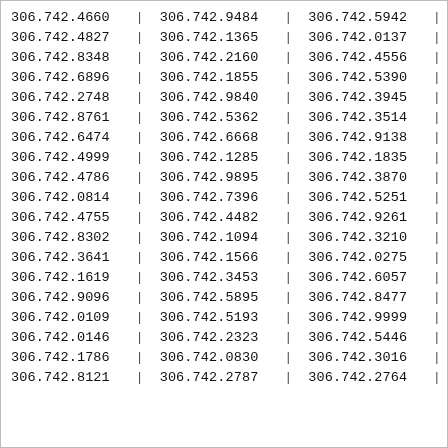| col1 | col2 | col3 |
| --- | --- | --- |
| 306.742.4660 | 306.742.9484 | 306.742.5942 |
| 306.742.4827 | 306.742.1365 | 306.742.0137 |
| 306.742.8348 | 306.742.2160 | 306.742.4556 |
| 306.742.6896 | 306.742.1855 | 306.742.5390 |
| 306.742.2748 | 306.742.9840 | 306.742.3945 |
| 306.742.8761 | 306.742.5362 | 306.742.3514 |
| 306.742.6474 | 306.742.6668 | 306.742.9138 |
| 306.742.4999 | 306.742.1285 | 306.742.1835 |
| 306.742.4786 | 306.742.9895 | 306.742.3870 |
| 306.742.0814 | 306.742.7396 | 306.742.5251 |
| 306.742.4755 | 306.742.4482 | 306.742.9261 |
| 306.742.8302 | 306.742.1094 | 306.742.3210 |
| 306.742.3641 | 306.742.1566 | 306.742.0275 |
| 306.742.1619 | 306.742.3453 | 306.742.6057 |
| 306.742.9096 | 306.742.5895 | 306.742.8477 |
| 306.742.0109 | 306.742.5193 | 306.742.9999 |
| 306.742.0146 | 306.742.2323 | 306.742.5446 |
| 306.742.1786 | 306.742.0830 | 306.742.3016 |
| 306.742.8121 | 306.742.2787 | 306.742.2764 |